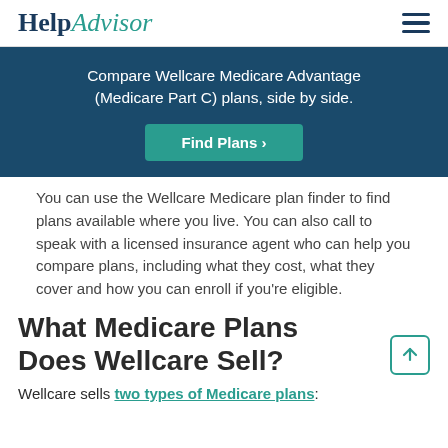HelpAdvisor
Compare Wellcare Medicare Advantage (Medicare Part C) plans, side by side.
Find Plans ›
You can use the Wellcare Medicare plan finder to find plans available where you live. You can also call to speak with a licensed insurance agent who can help you compare plans, including what they cost, what they cover and how you can enroll if you're eligible.
What Medicare Plans Does Wellcare Sell?
Wellcare sells two types of Medicare plans: